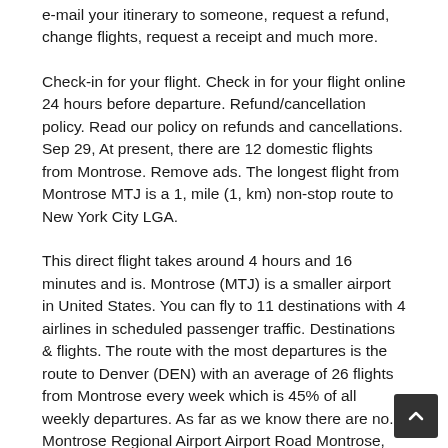e-mail your itinerary to someone, request a refund, change flights, request a receipt and much more.
Check-in for your flight. Check in for your flight online 24 hours before departure. Refund/cancellation policy. Read our policy on refunds and cancellations. Sep 29, At present, there are 12 domestic flights from Montrose. Remove ads. The longest flight from Montrose MTJ is a 1, mile (1, km) non-stop route to New York City LGA.
This direct flight takes around 4 hours and 16 minutes and is. Montrose (MTJ) is a smaller airport in United States. You can fly to 11 destinations with 4 airlines in scheduled passenger traffic. Destinations & flights. The route with the most departures is the route to Denver (DEN) with an average of 26 flights from Montrose every week which is 45% of all weekly departures. As far as we know there are no. Montrose Regional Airport Airport Road Montrose, CO Phone: Fly to Montrose, Colorado, with United Airlines from over airports within the United States and an additional airports internationally.
Montrose's top attractions. Explore Black Canyon of the